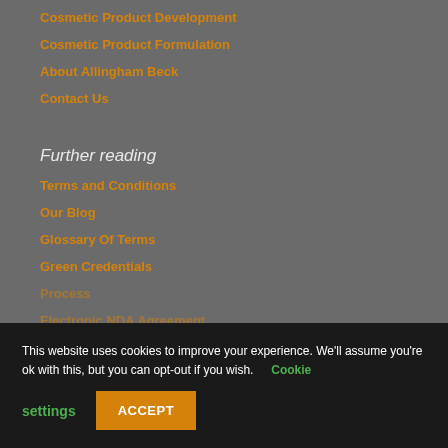Cosmetic Product Development
Cosmetic Product Formulation
About Allingham Beck
Contact Us
Further reading
Terms and Conditions
Our Blog
Glossary Of Terms
Green Credentials
Process
Electronic NDA Agreement
This website uses cookies to improve your experience. We'll assume you're ok with this, but you can opt-out if you wish. Cookie settings ACCEPT